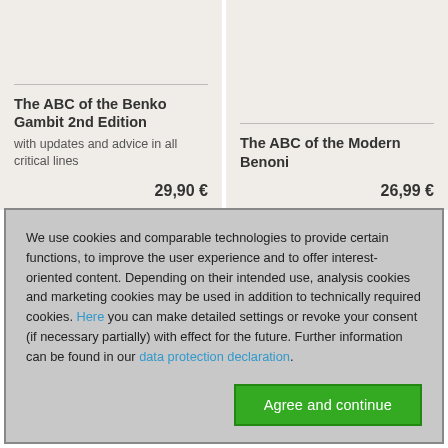The ABC of the Benko Gambit 2nd Edition
with updates and advice in all critical lines
29,90 €
The ABC of the Modern Benoni
26,99 €
We use cookies and comparable technologies to provide certain functions, to improve the user experience and to offer interest-oriented content. Depending on their intended use, analysis cookies and marketing cookies may be used in addition to technically required cookies. Here you can make detailed settings or revoke your consent (if necessary partially) with effect for the future. Further information can be found in our data protection declaration.